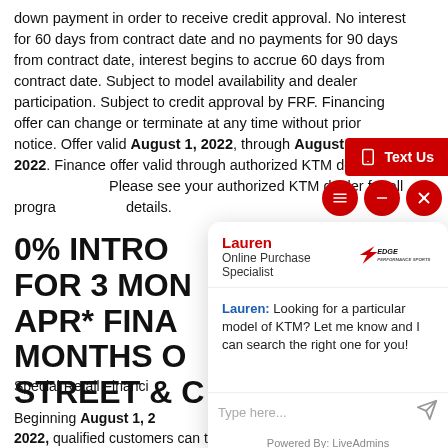down payment in order to receive credit approval. No interest for 60 days from contract date and no payments for 90 days from contract date, interest begins to accrue 60 days from contract date. Subject to model availability and dealer participation. Subject to credit approval by FRF. Financing offer can change or terminate at any time without prior notice. Offer valid August 1, 2022, through August 31, 2022. Finance offer valid through authorized KTM dealers only. Please see your authorized KTM dealer for all program details.
0% INTRO... FOR 3 MON... APR* FINA... MONTHS O... STREET & C...
Special Retail Financing
Beginning August 1, 2022, qualified customers can take advantage of an exciting